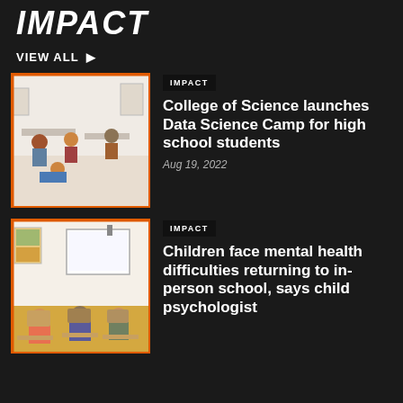IMPACT
VIEW ALL ▶
[Figure (photo): Students sitting and working in a classroom, some on the floor, in a college data science setting]
IMPACT
College of Science launches Data Science Camp for high school students
Aug 19, 2022
[Figure (photo): Children sitting at desks in a classroom with a whiteboard projector screen, viewed from behind]
IMPACT
Children face mental health difficulties returning to in-person school, says child psychologist